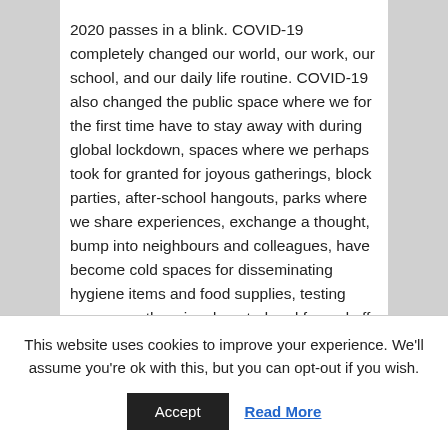2020 passes in a blink. COVID-19 completely changed our world, our work, our school, and our daily life routine. COVID-19 also changed the public space where we for the first time have to stay away with during global lockdown, spaces where we perhaps took for granted for joyous gatherings, block parties, after-school hangouts, parks where we share experiences, exchange a thought, bump into neighbours and colleagues, have become cold spaces for disseminating hygiene items and food supplies, testing cases, or otherwise deserted and fenced off. Yet, at the same time, new spaces emerge, bike lanes, pedestrianized zones, pop-up installations, eateries and street stalls have found their ways in many cities and administrations. Coming to the end of 2020, we feel that now it's the time to look back, reflect, and plan ahead.
This website uses cookies to improve your experience. We'll assume you're ok with this, but you can opt-out if you wish.